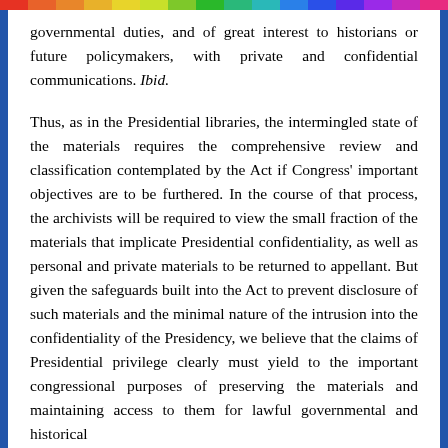governmental duties, and of great interest to historians or future policymakers, with private and confidential communications. Ibid.
Thus, as in the Presidential libraries, the intermingled state of the materials requires the comprehensive review and classification contemplated by the Act if Congress' important objectives are to be furthered. In the course of that process, the archivists will be required to view the small fraction of the materials that implicate Presidential confidentiality, as well as personal and private materials to be returned to appellant. But given the safeguards built into the Act to prevent disclosure of such materials and the minimal nature of the intrusion into the confidentiality of the Presidency, we believe that the claims of Presidential privilege clearly must yield to the important congressional purposes of preserving the materials and maintaining access to them for lawful governmental and historical